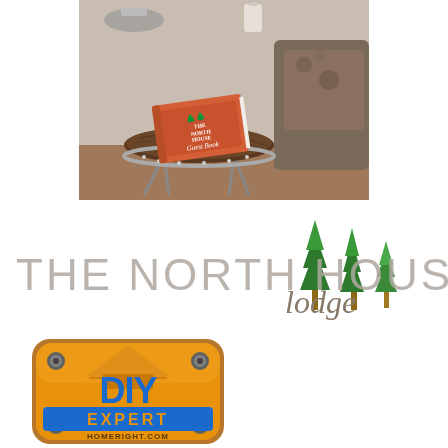[Figure (photo): Photo of a round wooden side table (live-edge wood slab with metal band trim and hairpin legs) with an orange guest book titled 'The North House Lodge Guest Book' sitting on top, next to a chair with patterned upholstery.]
[Figure (logo): The North House Lodge logo: large light gray text 'THE NORTH HOUSE' with script 'lodge' below, and three green illustrated pine trees to the right with brown trunks.]
[Figure (logo): HomeRight DIY Expert badge: a rounded-rectangle yellow/orange metallic badge with a house roofline graphic at top, 'DIY' in large blue bold letters, 'EXPERT' in orange on a blue band, and 'HOMERIGHT.COM' at the bottom. Four corner bolt details.]